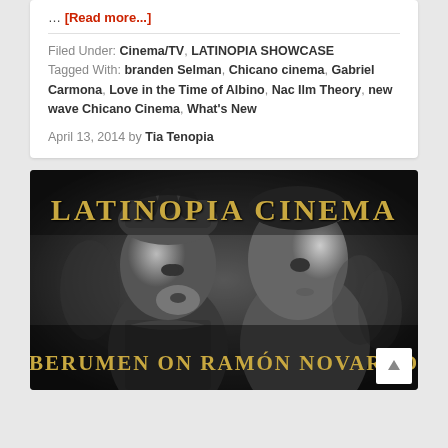… [Read more...]
Filed Under: Cinema/TV, LATINOPIA SHOWCASE
Tagged With: branden Selman, Chicano cinema, Gabriel Carmona, Love in the Time of Albino, Nac Ilm Theory, new wave Chicano Cinema, What's New
April 13, 2014 by Tia Tenopia
[Figure (photo): Black and white film still showing two actors in period costumes facing each other, overlaid with gold text 'LATINOPIA CINEMA' at top and 'BERUMEN ON RAMÓN NOVARRO' at bottom]